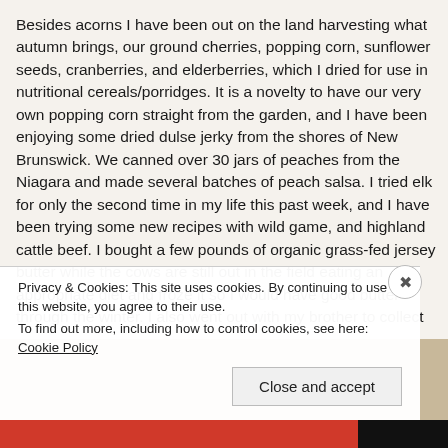Besides acorns I have been out on the land harvesting what autumn brings, our ground cherries, popping corn, sunflower seeds, cranberries, and elderberries, which I dried for use in nutritional cereals/porridges. It is a novelty to have our very own popping corn straight from the garden, and I have been enjoying some dried dulse jerky from the shores of New Brunswick. We canned over 30 jars of peaches from the Niagara and made several batches of peach salsa. I tried elk for only the second time in my life this past week, and I have been trying some new recipes with wild game, and highland cattle beef. I bought a few pounds of organic grass-fed jersey butter while the cows are still out in the field eating an appropriate diet and froze it so I would have good butter through the winter. I also went out with my brother to collect
Privacy & Cookies: This site uses cookies. By continuing to use this website, you agree to their use.
To find out more, including how to control cookies, see here: Cookie Policy
Close and accept